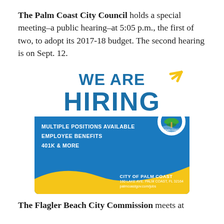The Palm Coast City Council holds a special meeting–a public hearing–at 5:05 p.m., the first of two, to adopt its 2017-18 budget. The second hearing is on Sept. 12.
[Figure (infographic): City of Palm Coast 'We Are Hiring' advertisement. Blue and yellow color scheme. Text: WE ARE HIRING, MULTIPLE POSITIONS AVAILABLE, EMPLOYEE BENEFITS, 401K & MORE. City of Palm Coast logo, address: 160 Lake Ave. Palm Coast, FL 32164, palmcoastgov.com/jobs]
The Flagler Beach City Commission meets at